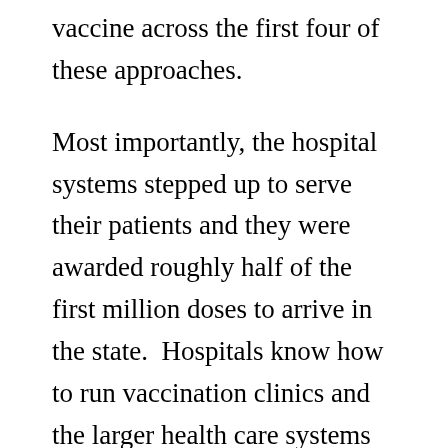vaccine across the first four of these approaches.
Most importantly, the hospital systems stepped up to serve their patients and they were awarded roughly half of the first million doses to arrive in the state.  Hospitals know how to run vaccination clinics and the larger health care systems have good patient databases and contact lists so that they can invite their patients in priority order.  That seemed to be working well.